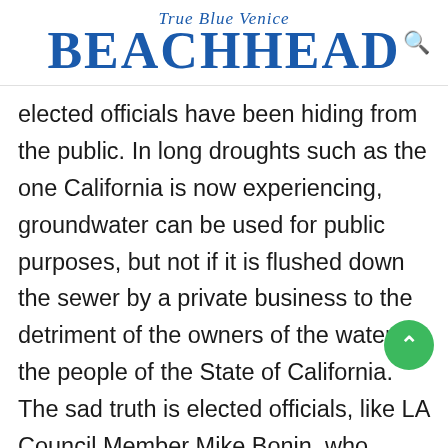True Blue Venice BEACHHEAD
elected officials have been hiding from the public. In long droughts such as the one California is now experiencing, groundwater can be used for public purposes, but not if it is flushed down the sewer by a private business to the detriment of the owners of the water, the people of the State of California. The sad truth is elected officials, like LA Council Member Mike Bonin, who